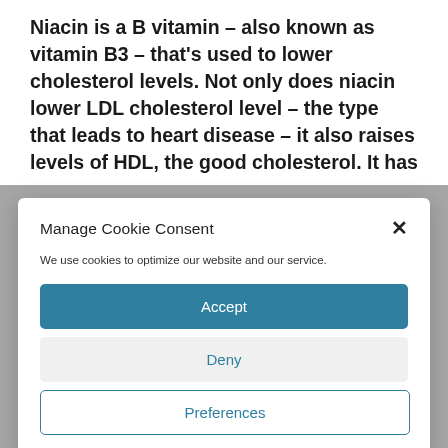Niacin is a B vitamin – also known as vitamin B3 – that's used to lower cholesterol levels. Not only does niacin lower LDL cholesterol level – the type that leads to heart disease – it also raises levels of HDL, the good cholesterol. It has
Manage Cookie Consent
We use cookies to optimize our website and our service.
Accept
Deny
Preferences